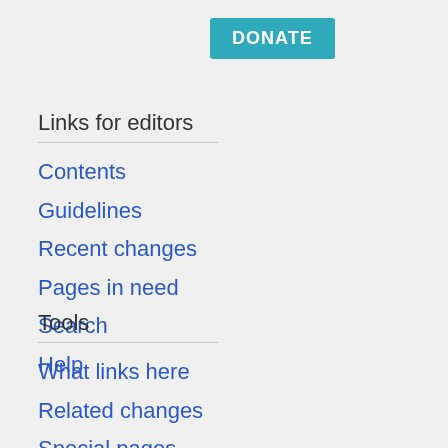[Figure (other): DONATE button in teal/cyan color]
Links for editors
Contents
Guidelines
Recent changes
Pages in need
Search
Help
Tools
What links here
Related changes
Special pages
Printable version